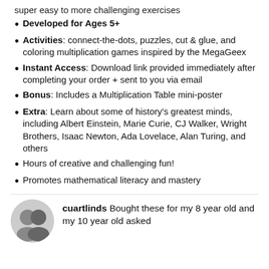super easy to more challenging exercises
Developed for Ages 5+
Activities: connect-the-dots, puzzles, cut & glue, and coloring multiplication games inspired by the MegaGeex
Instant Access: Download link provided immediately after completing your order + sent to you via email
Bonus: Includes a Multiplication Table mini-poster
Extra: Learn about some of history's greatest minds, including Albert Einstein, Marie Curie, CJ Walker, Wright Brothers, Isaac Newton, Ada Lovelace, Alan Turing, and others
Hours of creative and challenging fun!
Promotes mathematical literacy and mastery
cuartlinds Bought these for my 8 year old and my 10 year old asked